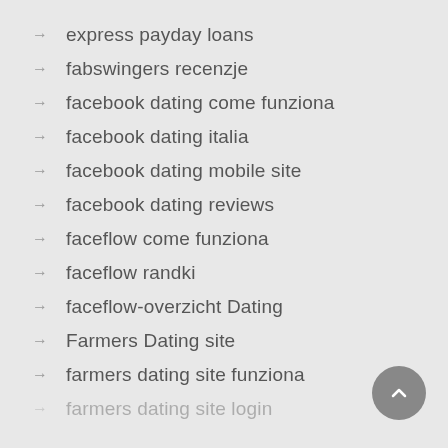express payday loans
fabswingers recenzje
facebook dating come funziona
facebook dating italia
facebook dating mobile site
facebook dating reviews
faceflow come funziona
faceflow randki
faceflow-overzicht Dating
Farmers Dating site
farmers dating site funziona
farmers dating site login